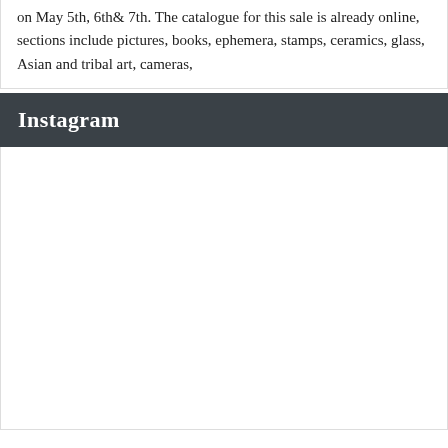on May 5th, 6th& 7th. The catalogue for this sale is already online, sections include pictures, books, ephemera, stamps, ceramics, glass, Asian and tribal art, cameras,
Instagram